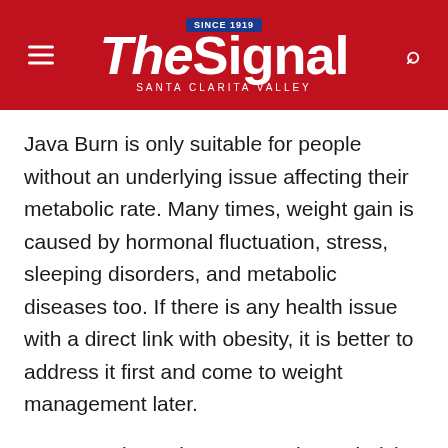The Signal — Santa Clarita Valley
Java Burn is only suitable for people without an underlying issue affecting their metabolic rate. Many times, weight gain is caused by hormonal fluctuation, stress, sleeping disorders, and metabolic diseases too. If there is any health issue with a direct link with obesity, it is better to address it first and come to weight management later.
Most people get better once the underlying issue is fixed, and they do not even need a metabolic booster. Although no side effect shows up when you use java burn powder in this state, it even shows the